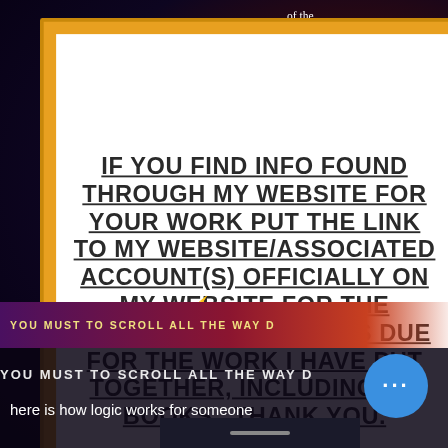IF YOU FIND INFO FOUND THROUGH MY WEBSITE FOR YOUR WORK PUT THE LINK TO MY WEBSITE/ASSOCIATED ACCOUNT(S) OFFICIALLY ON MY WEBSITE FOR THE ETIQUETTE OF CREDITS DUE FOR THE WORK I HAVE PUT TOGETHER, INCLUDING MY BOOKS.  THANK YOU.
of the ed Forces chnoid rs to start from as I eadaches, memory nditions I with n to 2nd always from my type United es; simply thoughts he ability o w
YOU MUST TO SCROLL ALL THE WAY D
here is how logic works for someone